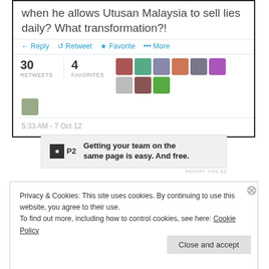[Figure (screenshot): Screenshot of a tweet showing text 'when he allows Utusan Malaysia to sell lies daily? What transformation?!' with reply, retweet, favorite actions, 30 retweets, 4 favorites, avatars, and timestamp 5:33 AM - 7 Oct 12]
[Figure (screenshot): Advertisement banner for P2 with text 'Getting your team on the same page is easy. And free.']
REPORT THIS AD
Privacy & Cookies: This site uses cookies. By continuing to use this website, you agree to their use.
To find out more, including how to control cookies, see here: Cookie Policy
Close and accept